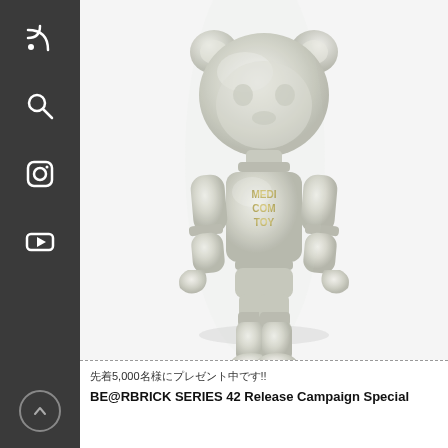[Figure (photo): Pearl white iridescent BE@RBRICK figure (Medicom Toy Series 42 Release Campaign Special), shown from the front. The figure has a rounded bear head with round ears, articulated arms and legs, and a torso with 'MEDICOM TOY' text in golden/yellow. The surface has a pearlescent white sheen with subtle golden reflections.]
先着5,000名様にプレゼント中です!!
BE@RBRICK SERIES 42 Release Campaign Special